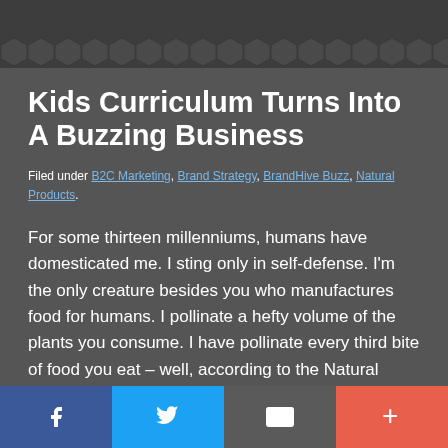Kids Curriculum Turns Into A Buzzing Business
Filed under B2C Marketing, Brand Strategy, BrandHive Buzz, Natural Products.
For some thirteen millenniums, humans have domesticated me. I sting only in self-defense. I'm the only creature besides you who manufactures food for humans. I pollinate a hefty volume of the plants you consume. I have pollinate every third bite of food you eat – well, according to the Natural Resources
Social share buttons: Facebook, Twitter, Email, More